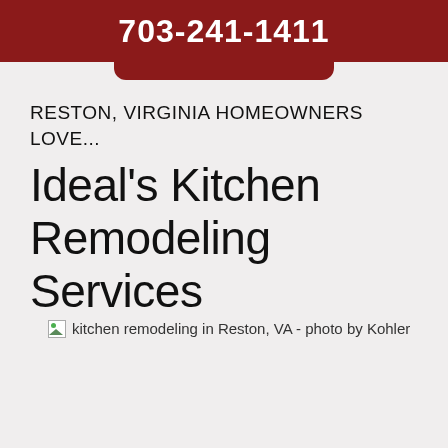703-241-1411
RESTON, VIRGINIA HOMEOWNERS LOVE...
Ideal's Kitchen Remodeling Services
[Figure (photo): Broken image placeholder with alt text: kitchen remodeling in Reston, VA - photo by Kohler]